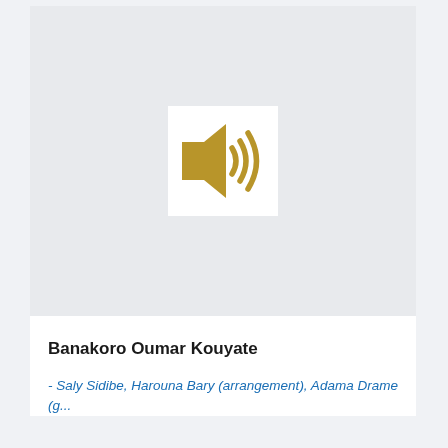[Figure (illustration): Audio/sound icon — a golden speaker with sound waves on a white square background, centered on a light grey area]
Banakoro Oumar Kouyate
- Saly Sidibe, Harouna Bary (arrangement), Adama Drame (g...